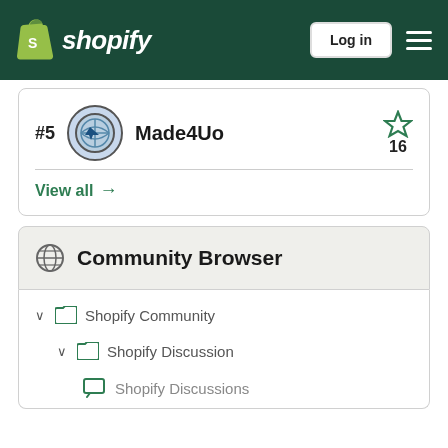Shopify — Log in
#5 Made4Uo — 16 stars
View all →
Community Browser
Shopify Community
Shopify Discussion
Shopify Discussions